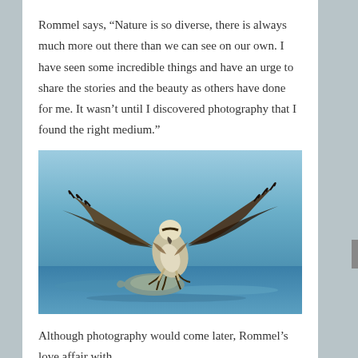Rommel says, “Nature is so diverse, there is always much more out there than we can see on our own. I have seen some incredible things and have an urge to share the stories and the beauty as others have done for me. It wasn’t until I discovered photography that I found the right medium.”
[Figure (photo): An osprey with wings fully spread landing on or grabbing a large fish at the water surface. The bird is photographed against a blue sky and blue water background. The osprey’s brown and white plumage and dramatic wingspan are clearly visible.]
Although photography would come later, Rommel’s love affair with...